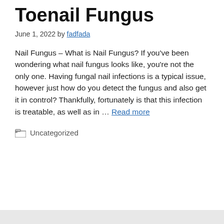Toenail Fungus
June 1, 2022 by fadfada
Nail Fungus – What is Nail Fungus? If you've been wondering what nail fungus looks like, you're not the only one. Having fungal nail infections is a typical issue, however just how do you detect the fungus and also get it in control? Thankfully, fortunately is that this infection is treatable, as well as in … Read more
Uncategorized